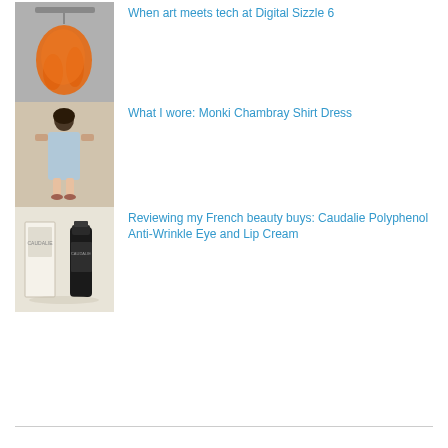[Figure (photo): Orange garment or bag hanging on a wire, gray background]
When art meets tech at Digital Sizzle 6
[Figure (photo): Person wearing a light blue chambray shirt dress standing against a brick wall]
What I wore: Monki Chambray Shirt Dress
[Figure (photo): Beauty products including a tube and a box on a light surface]
Reviewing my French beauty buys: Caudalie Polyphenol Anti-Wrinkle Eye and Lip Cream